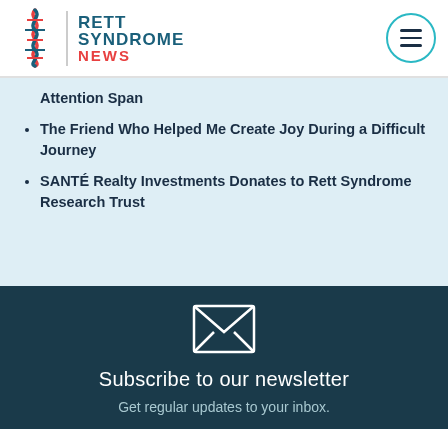Rett Syndrome News
Attention Span
The Friend Who Helped Me Create Joy During a Difficult Journey
SANTÉ Realty Investments Donates to Rett Syndrome Research Trust
[Figure (illustration): Envelope/mail icon in white outline on dark teal background]
Subscribe to our newsletter
Get regular updates to your inbox.